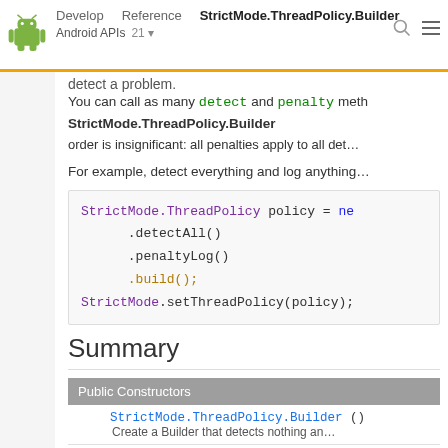Android developer documentation - StrictMode.ThreadPolicy.Builder
detect a problem.
You can call as many detect and penalty methods on the builder as you'd like, and the order is insignificant: all penalties apply to all detected problems. StrictMode.ThreadPolicy.Builder
For example, detect everything and log anything:
StrictMode.ThreadPolicy policy = new
    .detectAll()
    .penaltyLog()
    .build();
StrictMode.setThreadPolicy(policy);
Summary
| Public Constructors |  |  |
| --- | --- | --- |
|  | StrictMode.ThreadPolicy.Builder () |  |
|  | Create a Builder that detects nothing an... |  |
|  | StrictMode.ThreadPolicy.Builder (StrictMo... |  |